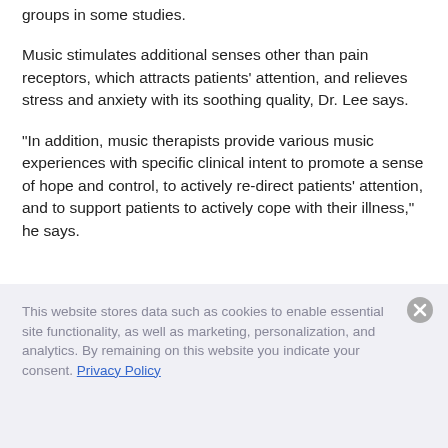groups in some studies.
Music stimulates additional senses other than pain receptors, which attracts patients’ attention, and relieves stress and anxiety with its soothing quality, Dr. Lee says.
“In addition, music therapists provide various music experiences with specific clinical intent to promote a sense of hope and control, to actively re-direct patients’ attention, and to support patients to actively cope with their illness,” he says.
This website stores data such as cookies to enable essential site functionality, as well as marketing, personalization, and analytics. By remaining on this website you indicate your consent. Privacy Policy